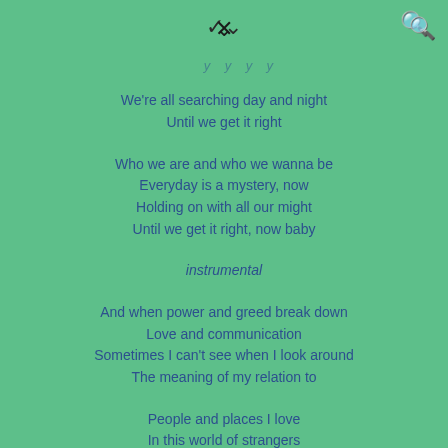▾  🔍
We're all searching day and night
Until we get it right
Who we are and who we wanna be
Everyday is a mystery, now
Holding on with all our might
Until we get it right, now baby
instrumental
And when power and greed break down
Love and communication
Sometimes I can't see when I look around
The meaning of my relation to
People and places I love
In this world of strangers